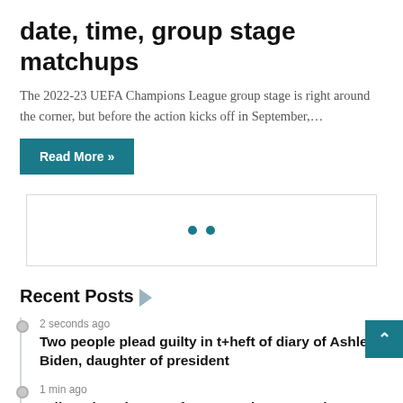date, time, group stage matchups
The 2022-23 UEFA Champions League group stage is right around the corner, but before the action kicks off in September,…
Read More »
[Figure (other): Advertisement placeholder box with two teal dots]
Recent Posts
2 seconds ago
Two people plead guilty in t+heft of diary of Ashley Biden, daughter of president
1 min ago
'Mike's' knockout performance doesn't pack enough new punch
3 mins ago